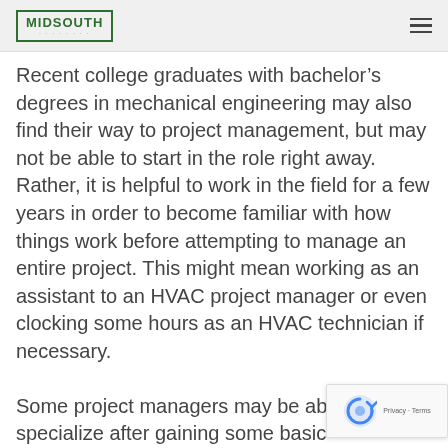MIDSOUTH
Recent college graduates with bachelor’s degrees in mechanical engineering may also find their way to project management, but may not be able to start in the role right away. Rather, it is helpful to work in the field for a few years in order to become familiar with how things work before attempting to manage an entire project. This might mean working as an assistant to an HVAC project manager or even clocking some hours as an HVAC technician if necessary.
Some project managers may be able to specialize after gaining some basic